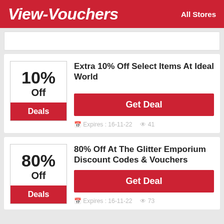View-Vouchers — All Stores
[Figure (other): Search bar area]
Extra 10% Off Select Items At Ideal World
10% Off — Deals — Get Deal — Expires: 16-11-22 — 41 views
80% Off At The Glitter Emporium Discount Codes & Vouchers
80% Off — Deals — Get Deal — Expires: 16-11-22 — 73 views